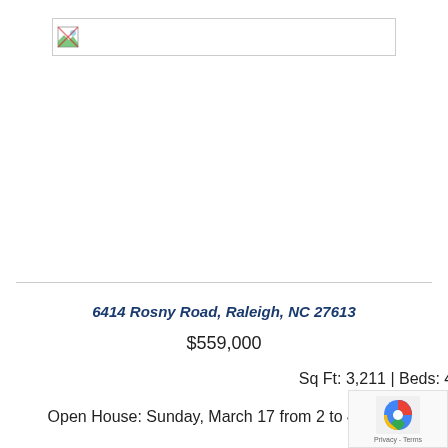[Figure (photo): Broken/placeholder image at top of listing page]
6414 Rosny Road, Raleigh, NC 27613
$559,000
Sq Ft: 3,211 | Beds: 4 | Baths: 3 (full) 1 (1/2)
Open House: Sunday, March 17 from 2 to 4 p.m...